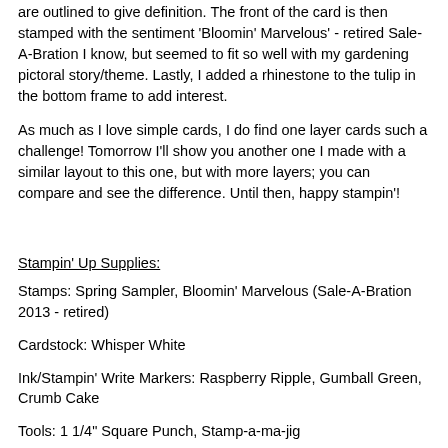are outlined to give definition. The front of the card is then stamped with the sentiment 'Bloomin' Marvelous' - retired Sale-A-Bration I know, but seemed to fit so well with my gardening pictoral story/theme. Lastly, I added a rhinestone to the tulip in the bottom frame to add interest.
As much as I love simple cards, I do find one layer cards such a challenge! Tomorrow I'll show you another one I made with a similar layout to this one, but with more layers; you can compare and see the difference. Until then, happy stampin'!
Stampin' Up Supplies:
Stamps: Spring Sampler, Bloomin' Marvelous (Sale-A-Bration 2013 - retired)
Cardstock: Whisper White
Ink/Stampin' Write Markers: Raspberry Ripple, Gumball Green, Crumb Cake
Tools: 1 1/4" Square Punch, Stamp-a-ma-jig
Finishing Touches: Basic Rhinestone